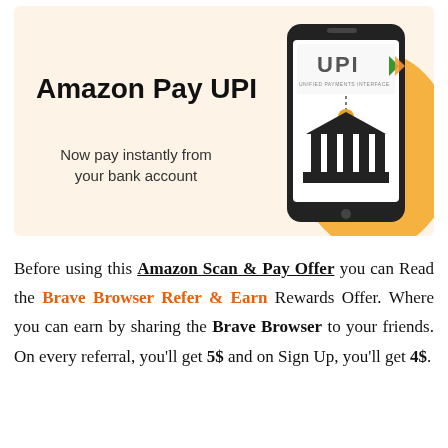[Figure (illustration): Amazon Pay UPI promotional banner with cream/beige background. Left side shows bold text 'Amazon Pay UPI' and subtitle 'Now pay instantly from your bank account'. Right side shows an orange hand holding a smartphone displaying UPI logo and a bank building icon.]
Before using this Amazon Scan & Pay Offer you can Read the Brave Browser Refer & Earn Rewards Offer. Where you can earn by sharing the Brave Browser to your friends. On every referral, you'll get 5$ and on Sign Up, you'll get 4$.